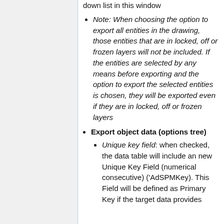down list in this window
Note: When choosing the option to export all entities in the drawing, those entities that are in locked, off or frozen layers will not be included. If the entities are selected by any means before exporting and the option to export the selected entities is chosen, they will be exported even if they are in locked, off or frozen layers
Export object data (options tree)
Unique key field: when checked, the data table will include an new Unique Key Field (numerical consecutive) ('AdSPMKey). This Field will be defined as Primary Key if the target data provides support for this feature